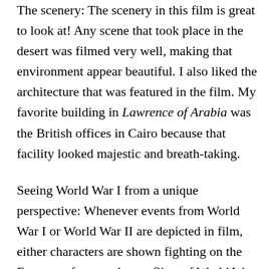The scenery: The scenery in this film is great to look at! Any scene that took place in the desert was filmed very well, making that environment appear beautiful. I also liked the architecture that was featured in the film. My favorite building in Lawrence of Arabia was the British offices in Cairo because that facility looked majestic and breath-taking.
Seeing World War I from a unique perspective: Whenever events from World War I or World War II are depicted in film, either characters are shown fighting on the European front or the conflicts of World War I and II and how affecting...